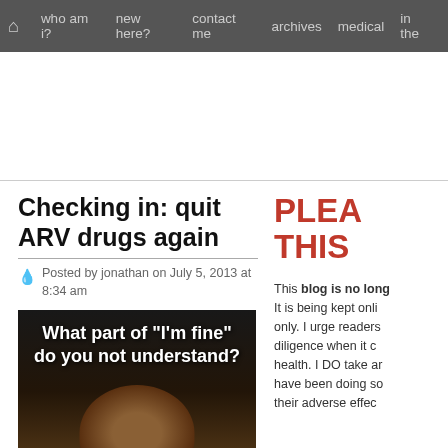who am i?   new here?   contact me   archives   medical   in the
Checking in: quit ARV drugs again
Posted by jonathan on July 5, 2013 at 8:34 am
[Figure (photo): Dark image of a person's face with bold white text overlay reading: What part of "I'm fine" do you not understand?]
PLEA THIS
This blog is no long It is being kept onli only. I urge readers diligence when it c health. I DO take ar have been doing so their adverse effec